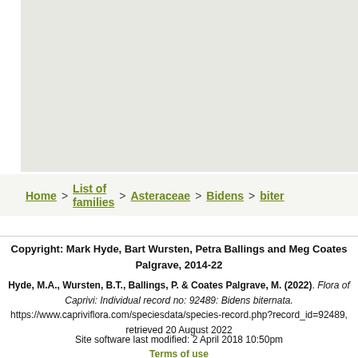[Figure (photo): Gray/light beige image area placeholder for a botanical photograph]
Home > List of families > Asteraceae > Bidens > bitern
Copyright: Mark Hyde, Bart Wursten, Petra Ballings and Meg Coates Palgrave, 2014-22
Hyde, M.A., Wursten, B.T., Ballings, P. & Coates Palgrave, M. (2022). Flora of Caprivi: Individual record no: 92489: Bidens biternata. https://www.capriviflora.com/speciesdata/species-record.php?record_id=92489, retrieved 20 August 2022
Site software last modified: 2 April 2018 10:50pm
Terms of use